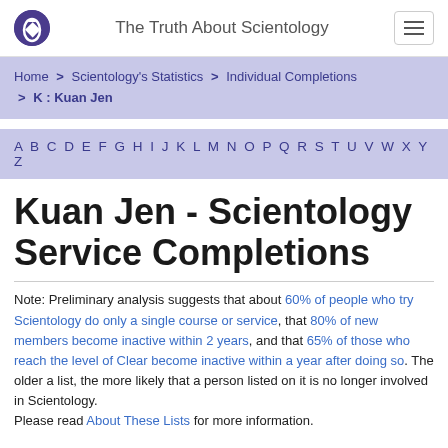The Truth About Scientology
Home > Scientology's Statistics > Individual Completions > K : Kuan Jen
A B C D E F G H I J K L M N O P Q R S T U V W X Y Z
Kuan Jen - Scientology Service Completions
Note: Preliminary analysis suggests that about 60% of people who try Scientology do only a single course or service, that 80% of new members become inactive within 2 years, and that 65% of those who reach the level of Clear become inactive within a year after doing so. The older a list, the more likely that a person listed on it is no longer involved in Scientology.
Please read About These Lists for more information.